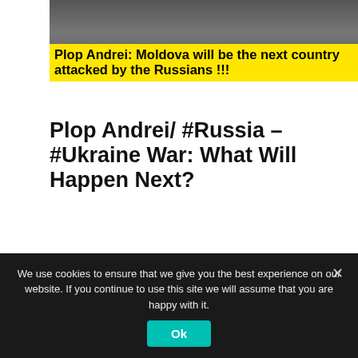[Figure (photo): Photo of a person in suit behind podium with flags, partially visible at top]
Plop Andrei: Moldova will be the next country attacked by the Russians !!!
Plop Andrei/ #Russia – #Ukraine War: What Will Happen Next?
[Figure (photo): Split thumbnail: left shows a man in video call, right shows blue background with yellow text reading 'Plop Andrei Russia-Ukraine War What Will Happen Next?']
We use cookies to ensure that we give you the best experience on our website. If you continue to use this site we will assume that you are happy with it.